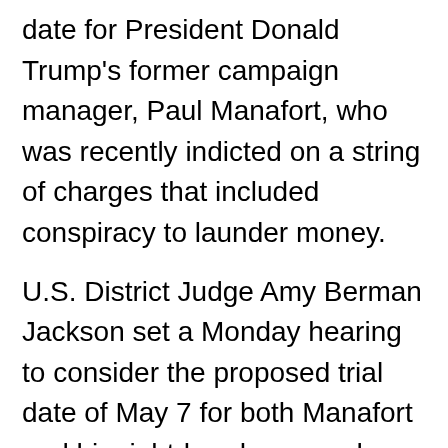date for President Donald Trump's former campaign manager, Paul Manafort, who was recently indicted on a string of charges that included conspiracy to launder money.
U.S. District Judge Amy Berman Jackson set a Monday hearing to consider the proposed trial date of May 7 for both Manafort and his right-hand man and former Trump campaign adviser, Rick Gates.
Both men were indicted as part of special counsel Robert Mueller's investigation into Russian attempts to interfere in the 2016 U.S. presidential election.
The judge also ordered Manafort and Gates